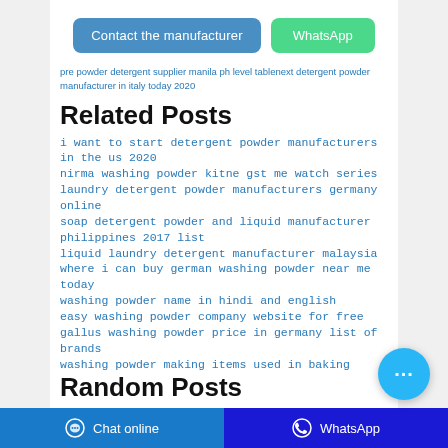[Figure (other): Two buttons: 'Contact the manufacturer' (blue) and 'WhatsApp' (green)]
pre|powder detergent supplier manila ph level table next|detergent powder manufacturer in italy today 2020
Related Posts
i want to start detergent powder manufacturers in the us 2020
nirma washing powder kitne gst me watch series
laundry detergent powder manufacturers germany online
soap detergent powder and liquid manufacturer philippines 2017 list
liquid laundry detergent manufacturer malaysia
where i can buy german washing powder near me today
washing powder name in hindi and english
easy washing powder company website for free
gallus washing powder price in germany list of brands
washing powder making items used in baking
Random Posts
where can i buy 20l washing powder in nelspruit ny post office
detergent powder wrapper supplier malaysia adn
Chat online   WhatsApp